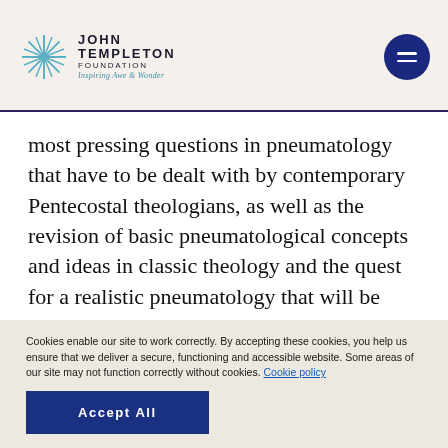John Templeton Foundation — Inspiring Awe & Wonder
most pressing questions in pneumatology that have to be dealt with by contemporary Pentecostal theologians, as well as the revision of basic pneumatological concepts and ideas in classic theology and the quest for a realistic pneumatology that will be related to lived experience and our evolving understanding of creation.
MORE
Cookies enable our site to work correctly. By accepting these cookies, you help us ensure that we deliver a secure, functioning and accessible website. Some areas of our site may not function correctly without cookies. Cookie policy
Accept All